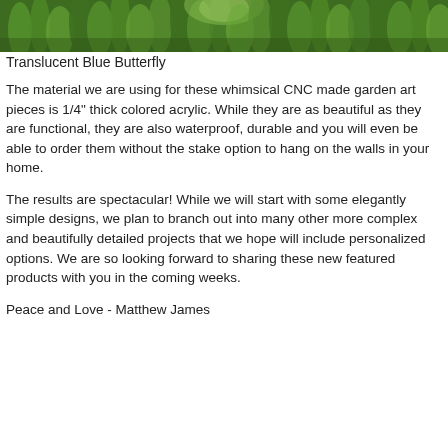[Figure (photo): Close-up photo of green grass or foliage, cropped as a horizontal strip at the top of the page]
Translucent Blue Butterfly
The material we are using for these whimsical CNC made garden art pieces is 1/4" thick colored acrylic. While they are as beautiful as they are functional, they are also waterproof, durable and you will even be able to order them without the stake option to hang on the walls in your home.
The results are spectacular! While we will start with some elegantly simple designs, we plan to branch out into many other more complex and beautifully detailed projects that we hope will include personalized options. We are so looking forward to sharing these new featured products with you in the coming weeks.
Peace and Love - Matthew James